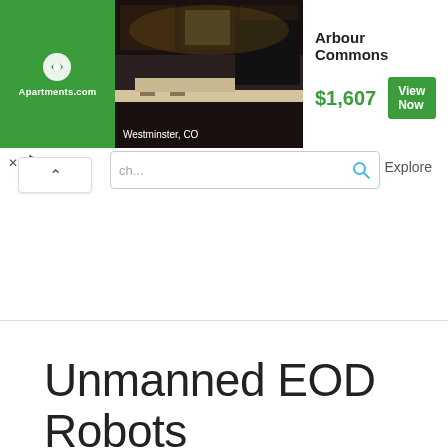[Figure (screenshot): Apartments.com advertisement banner showing a kitchen photo for Arbour Commons in Westminster, CO, priced at $1,607 with a View Now button]
ch...
Explore
Unmanned EOD Robots